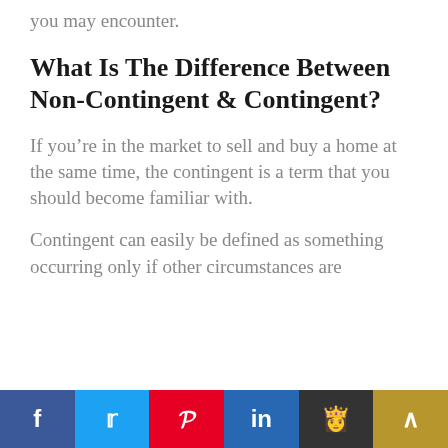you may encounter.
What Is The Difference Between Non-Contingent & Contingent?
If you’re in the market to sell and buy a home at the same time, the contingent is a term that you should become familiar with.
Contingent can easily be defined as something occurring only if other circumstances are fulfilled.